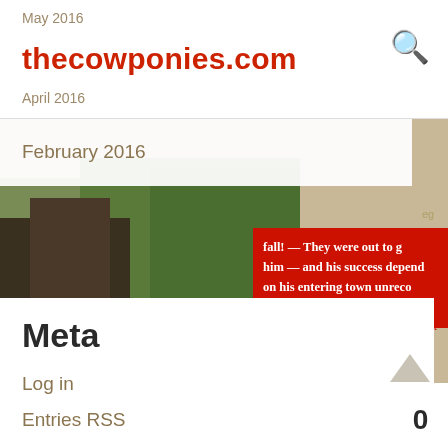thecowponies.com
May 2016
April 2016
February 2016
[Figure (illustration): Background illustration showing a painted scene with green foliage and a figure, partially overlaid with a red block of text reading: fall! — They were out to g him — and his success depend on his entering town unreco]
Meta
Log in
Entries RSS
Comments RSS
WordPress.org